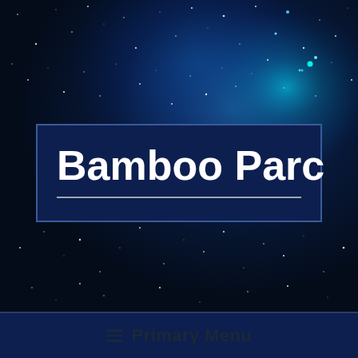[Figure (photo): Night sky / starfield background with deep blue tones and scattered white stars, bright teal-green nebula glow in upper right corner]
Bamboo Parc
≡  Primary Menu